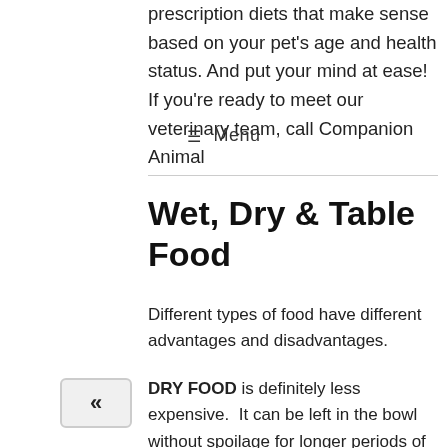prescription diets that make sense based on your pet's age and health status. And put your mind at ease!  If you're ready to meet our veterinary team, call Companion Animal
☰  Menu
Wet, Dry & Table Food
Different types of food have different advantages and disadvantages.
DRY FOOD is definitely less expensive.  It can be left in the bowl without spoilage for longer periods of time than canned or moist foods.  It also provides better mechanical